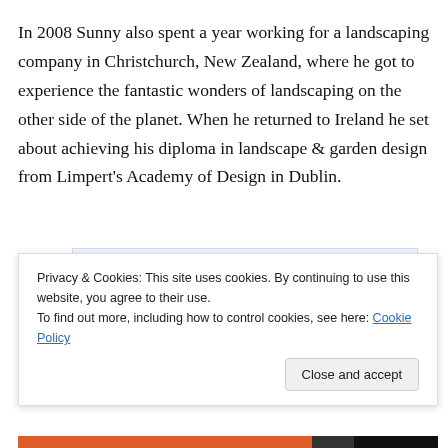In 2008 Sunny also spent a year working for a landscaping company in Christchurch, New Zealand, where he got to experience the fantastic wonders of landscaping on the other side of the planet. When he returned to Ireland he set about achieving his diploma in landscape & garden design from Limpert's Academy of Design in Dublin.
[Figure (other): WordPress advertisement banner: 'Build a writing habit. Post on the go.' with GET THE APP button and WordPress logo]
About to...
Privacy & Cookies: This site uses cookies. By continuing to use this website, you agree to their use. To find out more, including how to control cookies, see here: Cookie Policy
Close and accept